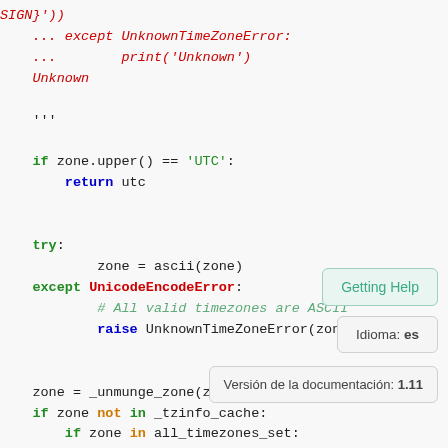Code snippet showing Python timezone handling code with red output lines, green keywords, blue keywords, purple keywords, and teal comment. Also shows floating UI elements: Getting Help tooltip, Idioma: es, Versión de la documentación: 1.11
[Figure (screenshot): Python source code block with syntax highlighting showing timezone handling code, with overlay UI tooltips for Getting Help, Idioma: es, and Versión de la documentación: 1.11]